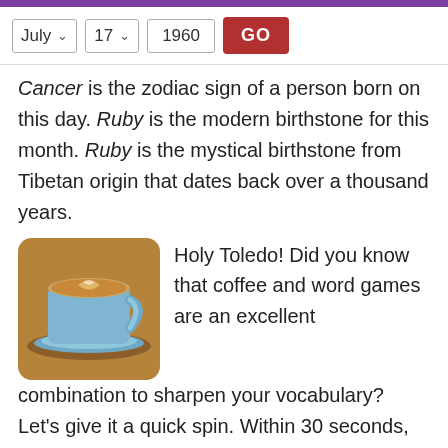July  17  1960  GO
Cancer is the zodiac sign of a person born on this day. Ruby is the modern birthstone for this month. Ruby is the mystical birthstone from Tibetan origin that dates back over a thousand years.
[Figure (photo): A blue ceramic cup of coffee with latte art on a saucer]
Holy Toledo! Did you know that coffee and word games are an excellent combination to sharpen your vocabulary? Let's give it a quick spin. Within 30 seconds, how many words can you think of from these letters D E A I L H Z W A B I ? Check your